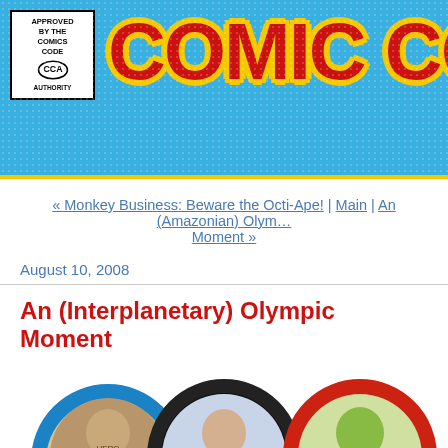[Figure (illustration): Comic Covers website banner header with blue polka-dot background, Comics Code Authority stamp on the left, and large red bold text reading COMIC COVE (cropped) with yellow outline on the right]
« Monkey Business: Beware the Octi-Ape! | Main | An (Amazonian) Olympic Moment »
August 10, 2008
An (Interplanetary) Olympic Moment
[Figure (illustration): Comic book style illustration of five Olympic rings, each containing a different superhero or character portrait: blue ring with a male hero in red, black ring with Superman, yellow ring with a blonde woman, green ring with a man, and red ring with a green alien villain]